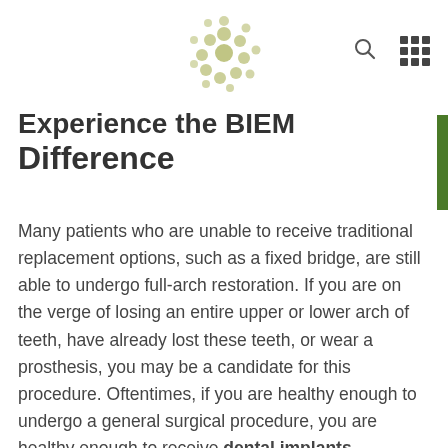[Logo: stylized cluster of circles in olive/green] [Search icon] [Grid icon]
Experience the BIEM Difference
Many patients who are unable to receive traditional replacement options, such as a fixed bridge, are still able to undergo full-arch restoration. If you are on the verge of losing an entire upper or lower arch of teeth, have already lost these teeth, or wear a prosthesis, you may be a candidate for this procedure. Oftentimes, if you are healthy enough to undergo a general surgical procedure, you are healthy enough to receive dental implants.